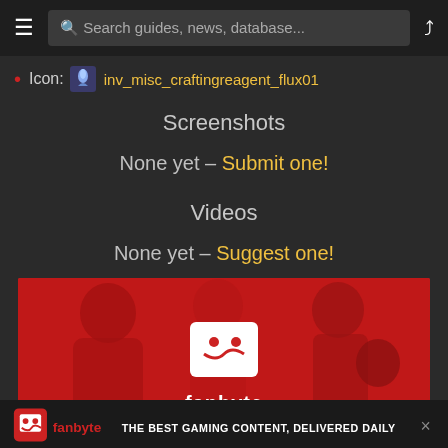Search guides, news, database...
Icon: inv_misc_craftingreagent_flux01
Screenshots
None yet – Submit one!
Videos
None yet – Suggest one!
[Figure (photo): Fanbyte advertisement banner showing three people playing games together with red overlay, Fanbyte logo centered]
[Figure (infographic): Bottom fanbyte bar with logo icon, fanbyte text and tagline: THE BEST GAMING CONTENT, DELIVERED DAILY]